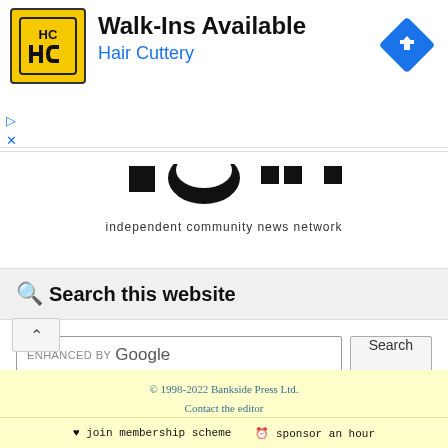[Figure (illustration): Hair Cuttery advertisement banner with yellow HC logo, 'Walk-Ins Available' headline, 'Hair Cuttery' subtitle in blue, and a blue diamond directions icon on the right. Small ad badge with triangle and X icons on the left side.]
[Figure (logo): Independent Community News Network logo area with black graphic elements and tagline 'independent community news network'. Chevron-up button on the left.]
Search this website
[Figure (screenshot): Google search bar with 'ENHANCED BY Google' text and a Search button]
© 1998-2022 Bankside Press Ltd.
Contact the editor
We use cookies. Read our privacy and data protection statement.
Proud members of the Independent Community News Network.
♥ join membership scheme  ⏱ sponsor an hour